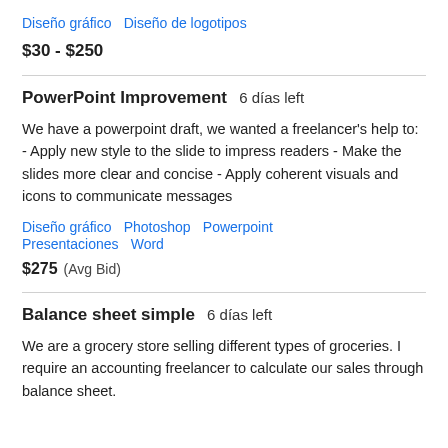Diseño gráfico   Diseño de logotipos
$30 - $250
PowerPoint Improvement  6 días left
We have a powerpoint draft, we wanted a freelancer's help to: - Apply new style to the slide to impress readers - Make the slides more clear and concise - Apply coherent visuals and icons to communicate messages
Diseño gráfico   Photoshop   Powerpoint   Presentaciones   Word
$275  (Avg Bid)
Balance sheet simple  6 días left
We are a grocery store selling different types of groceries. I require an accounting freelancer to calculate our sales through balance sheet.